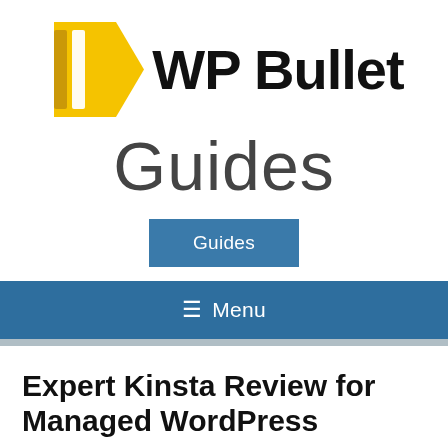[Figure (logo): WP Bullet logo: yellow shield/arrow shape with two vertical bars, followed by bold black text 'WP Bullet']
Guides
Guides
≡  Menu
Expert Kinsta Review for Managed WordPress